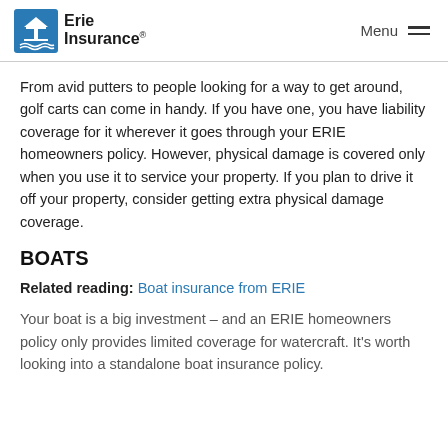Erie Insurance | Menu
From avid putters to people looking for a way to get around, golf carts can come in handy. If you have one, you have liability coverage for it wherever it goes through your ERIE homeowners policy. However, physical damage is covered only when you use it to service your property. If you plan to drive it off your property, consider getting extra physical damage coverage.
BOATS
Related reading: Boat insurance from ERIE
Your boat is a big investment – and an ERIE homeowners policy only provides limited coverage for watercraft. It's worth looking into a standalone boat insurance policy.